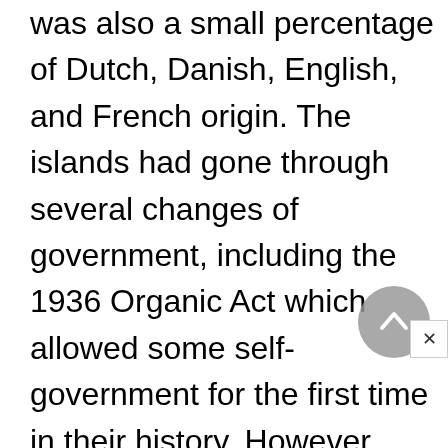was also a small percentage of Dutch, Danish, English, and French origin. The islands had gone through several changes of government, including the 1936 Organic Act which allowed some self-government for the first time in their history. However, since 1931, the office of governor had always been appointed by the United States president. Only one governor, Morris F. de Castro, had been a native of the islands. There had been a number of years of unrest in the islands until